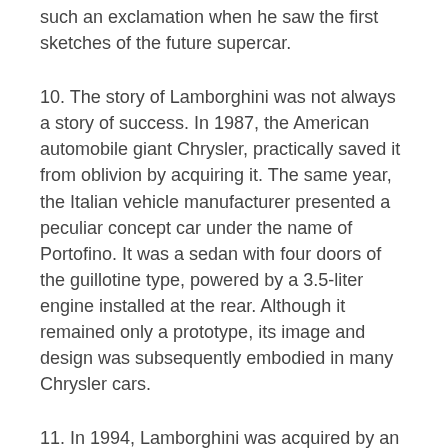such an exclamation when he saw the first sketches of the future supercar.
10. The story of Lamborghini was not always a story of success. In 1987, the American automobile giant Chrysler, practically saved it from oblivion by acquiring it. The same year, the Italian vehicle manufacturer presented a peculiar concept car under the name of Portofino. It was a sedan with four doors of the guillotine type, powered by a 3.5-liter engine installed at the rear. Although it remained only a prototype, its image and design was subsequently embodied in many Chrysler cars.
11. In 1994, Lamborghini was acquired by an Indonesian investment group. It was a period of uncertainty for the Italian marque. The German automobile giant Volkswagen saved the famous vehicle manufacturer. Since 1998, Volkswagen has controlled Lamborghini through its subdivision Audi. Undoubtedly, this was a mutually beneficial union for both companies.